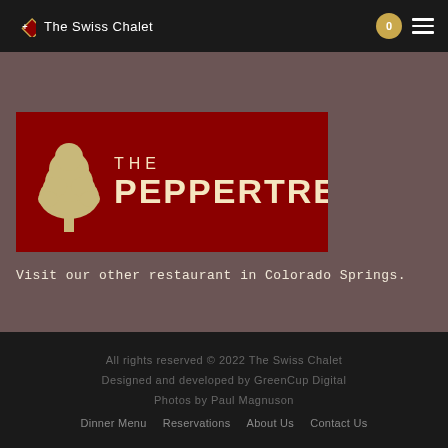The Swiss Chalet
[Figure (logo): The Peppertree restaurant logo on a dark red background with a cream-colored tree icon and text 'THE PEPPERTREE']
Visit our other restaurant in Colorado Springs.
All rights reserved © 2022 The Swiss Chalet
Designed and developed by GreenCup Digital
Photos by Paul Magnuson
Dinner Menu   Reservations   About Us   Contact Us